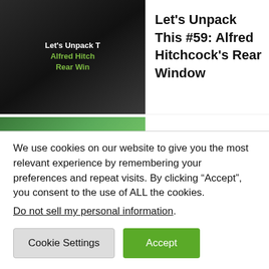[Figure (photo): Thumbnail for 'Let's Unpack This #59: Alfred Hitchcock's Rear Window' — dark background with text overlay showing title in white and green]
Let's Unpack This #59: Alfred Hitchcock's Rear Window
[Figure (photo): Thumbnail showing three people walking on a path outdoors among green trees]
“Happy Hour,” The Literally Life-Changing Film About Speaking Up
[Figure (photo): Thumbnail with pink and yellow tones, partially visible]
Five Hidden Object Games You Need
We use cookies on our website to give you the most relevant experience by remembering your preferences and repeat visits. By clicking “Accept”, you consent to the use of ALL the cookies.
Do not sell my personal information.